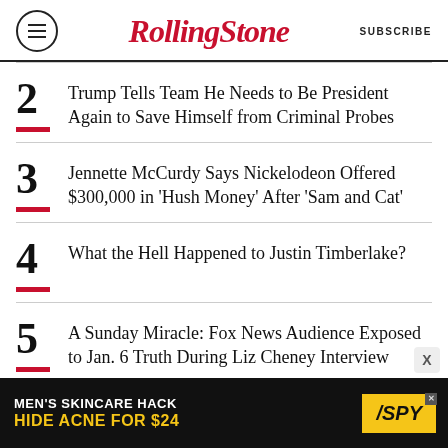RollingStone | SUBSCRIBE
2 Trump Tells Team He Needs to Be President Again to Save Himself from Criminal Probes
3 Jennette McCurdy Says Nickelodeon Offered $300,000 in 'Hush Money' After 'Sam and Cat'
4 What the Hell Happened to Justin Timberlake?
5 A Sunday Miracle: Fox News Audience Exposed to Jan. 6 Truth During Liz Cheney Interview
[Figure (advertisement): MEN'S SKINCARE HACK HIDE ACNE FOR $24 - SPY advertisement banner]